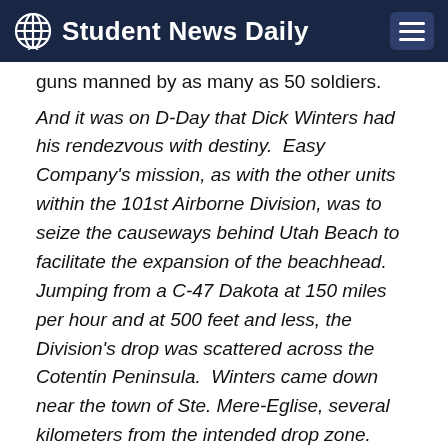Student News Daily
guns manned by as many as 50 soldiers.
And it was on D-Day that Dick Winters had his rendezvous with destiny. Easy Company's mission, as with the other units within the 101st Airborne Division, was to seize the causeways behind Utah Beach to facilitate the expansion of the beachhead. Jumping from a C-47 Dakota at 150 miles per hour and at 500 feet and less, the Division's drop was scattered across the Cotentin Peninsula. Winters came down near the town of Ste. Mere-Eglise, several kilometers from the intended drop zone. Rallying a couple of troopers, he soon was en route to Ste. Marie-du-Mont, destined to be the Division's headquarters for most of D-